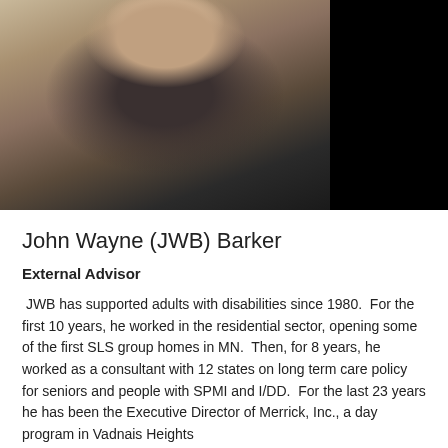[Figure (photo): Headshot photo of John Wayne (JWB) Barker, a man in a black suit with a dark tie, standing in front of a stone wall background.]
John Wayne (JWB) Barker
External Advisor
JWB has supported adults with disabilities since 1980.  For the first 10 years, he worked in the residential sector, opening some of the first SLS group homes in MN.  Then, for 8 years, he worked as a consultant with 12 states on long term care policy for seniors and people with SPMI and I/DD.  For the last 23 years he has been the Executive Director of Merrick, Inc., a day program in Vadnais Heights